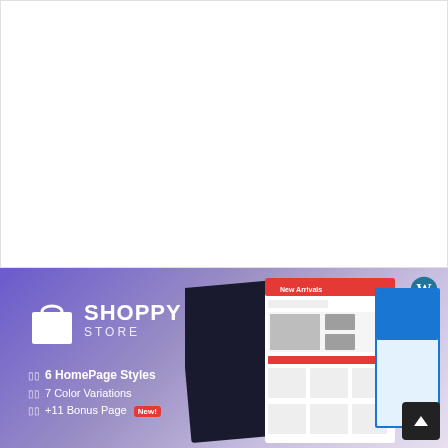[Figure (screenshot): White blank area representing top portion of a document page]
[Figure (infographic): Shoppy Store WordPress theme promotional banner with purple gradient background, shopping bag logo, brand name SHOPPY STORE, WordPress logo, feature list (6 HomePage Styles, 7 Color Variations, +11 Bonus Page New), and theme screenshots showing e-commerce website layouts]